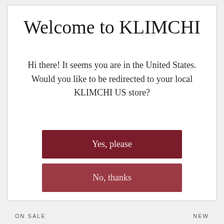Welcome to KLIMCHI
Hi there! It seems you are in the United States. Would you like to be redirected to your local KLIMCHI US store?
Yes, please
No, thanks
ON SALE    NEW